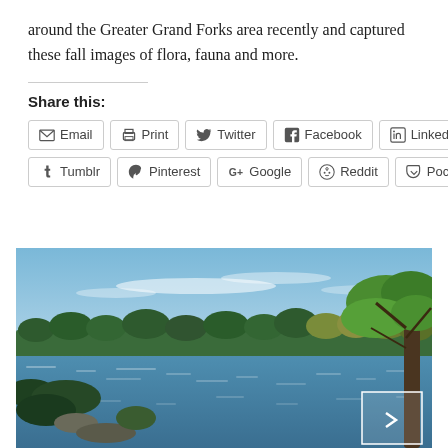around the Greater Grand Forks area recently and captured these fall images of flora, fauna and more.
Share this:
Email | Print | Twitter | Facebook | LinkedIn | Tumblr | Pinterest | Google | Reddit | Pocket
[Figure (photo): Panoramic lake scene with blue sky, forested shoreline, sparkling water, and tree branches with green leaves in the foreground on the right side.]